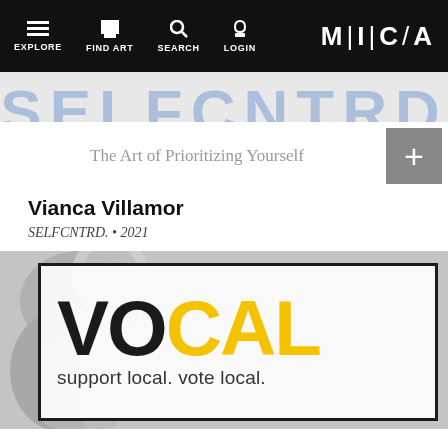EXPLORE  FIND ART  SEARCH  LOGIN  M|C|A
[Figure (illustration): Partially visible banner text reading SELFCNTRD in large blue-grey letters, cropped at top]
The Art of Prioritizing Yourself
Vianca Villamor
SELFCNTRD. • 2021
[Figure (photo): Composite image: grayscale background showing a hand holding a microphone, overlaid with a white-bordered box containing the word VOCAL (VO in dark/black, CAL in yellow) and the text 'support local. vote local.' below in dark grey on white background]